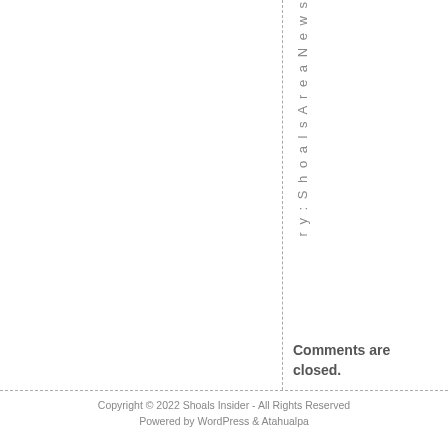r y : S h o a l s A r e a N e w s
Comments are closed.
Copyright © 2022 Shoals Insider - All Rights Reserved
Powered by WordPress & Atahualpa